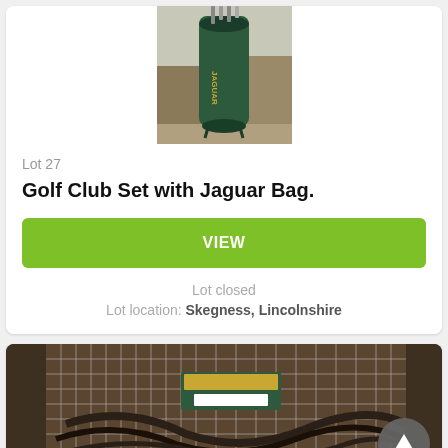[Figure (photo): Photo of a green Jaguar golf bag standing in a storage area]
Lot 27
Golf Club Set with Jaguar Bag.
VIEW
Lot closed
Lot location: Skegness, Lincolnshire
[Figure (photo): Photo of items in a wire mesh cage/trolley, including cables and equipment with a green label]